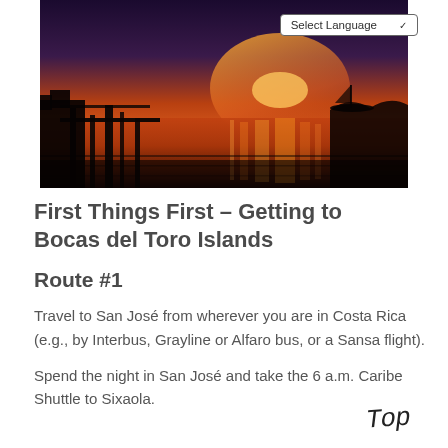[Figure (photo): Sunset photograph over water with silhouettes of dock structures and a boat, orange and purple sky reflected in water, dark foreground]
First Things First – Getting to Bocas del Toro Islands
Route #1
Travel to San José from wherever you are in Costa Rica (e.g., by Interbus, Grayline or Alfaro bus, or a Sansa flight).
Spend the night in San José and take the 6 a.m. Caribe Shuttle to Sixaola.